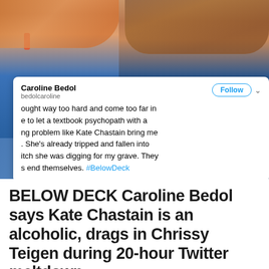[Figure (photo): Photo of two women from Below Deck TV show; left person has red/orange earrings and reddish hair wearing blue shirt; right person wears blue polo shirt with 'My Seanna' logo. A Twitter screenshot overlay shows a tweet from Caroline Bedol with text about Kate Chastain and #BelowDeck hashtag. Starca watermark visible.]
BELOW DECK Caroline Bedol says Kate Chastain is an alcoholic, drags in Chrissy Teigen during 20-hour Twitter meltdown
Asa Hawks  December 2, 2018  Below Deck,